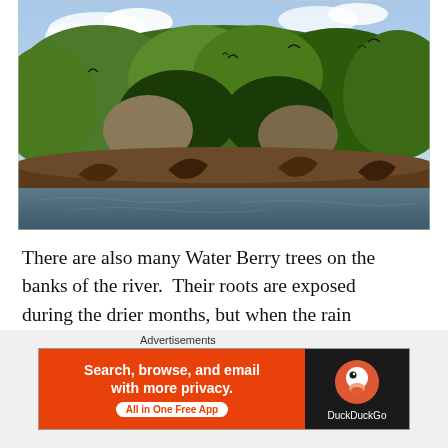[Figure (photo): Photograph of a riverbank with dense tropical trees and shrubs. The trees have gnarled roots near the waterline. Several birds are visible perched in the treetops. The sky is partly cloudy.]
There are also many Water Berry trees on the banks of the river.  Their roots are exposed during the drier months, but when the rain comes and the river rises, their roots are covered entirely and the don't drown.
Advertisements
[Figure (screenshot): DuckDuckGo advertisement banner. Left side: orange background with text 'Search, browse, and email with more privacy.' and 'All in One Free App' pill button. Right side: dark background with DuckDuckGo duck logo and 'DuckDuckGo' text.]